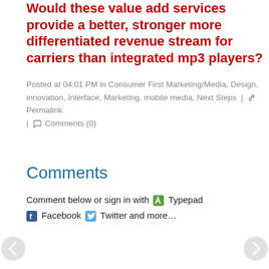Would these value add services provide a better, stronger more differentiated revenue stream for carriers than integrated mp3 players?
Posted at 04:01 PM in Consumer First Marketing/Media, Design, innovation, Interface, Marketing, mobile media, Next Steps | Permalink | Comments (0)
Comments
Comment below or sign in with Typepad Facebook Twitter and more...